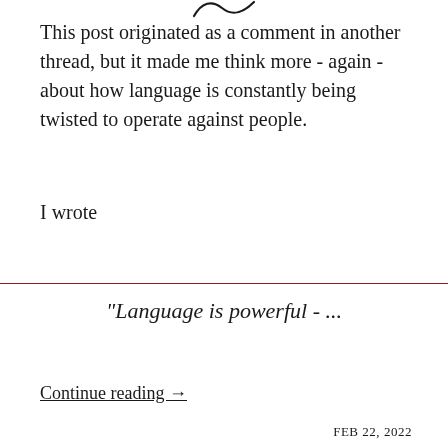[Figure (illustration): Decorative tilde/swash mark at top center of page]
This post originated as a comment in another thread, but it made me think more - again - about how language is constantly being twisted to operate against people.
I wrote
“Language is powerful - …
Continue reading →
FEB 22, 2022